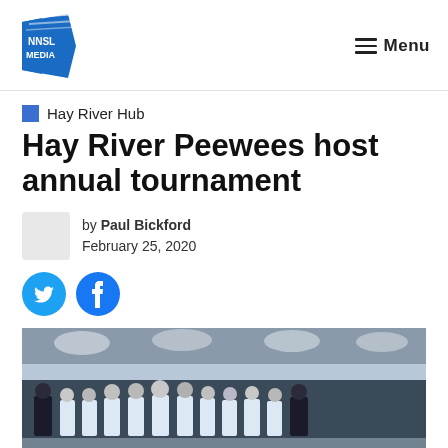NNSL Media — Menu
Hay River Hub
Hay River Peewees host annual tournament
by Paul Bickford
February 25, 2020
[Figure (photo): Hockey team photo taken inside a rink, players in white jerseys with coaches on either end, posing for a team photo behind the boards.]